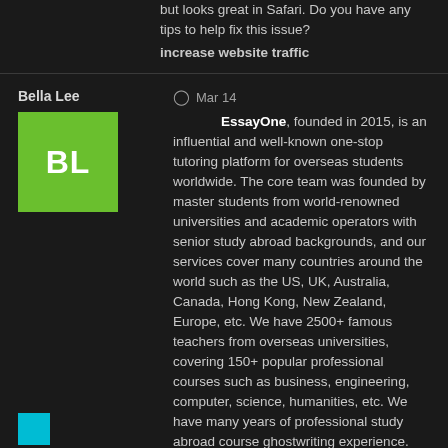but looks great in Safari. Do you have any tips to help fix this issue?
increase website traffic
Bella Lee
Mar 14
EssayOne, founded in 2015, is an influential and well-known one-stop tutoring platform for overseas students worldwide. The core team was founded by master students from world-renowned universities and academic operators with senior study abroad backgrounds, and our services cover many countries around the world such as the US, UK, Australia, Canada, Hong Kong, New Zealand, Europe, etc. We have 2500+ famous teachers from overseas universities, covering 150+ popular professional courses such as business, engineering, computer, science, humanities, etc. We have many years of professional study abroad course ghostwriting experience.